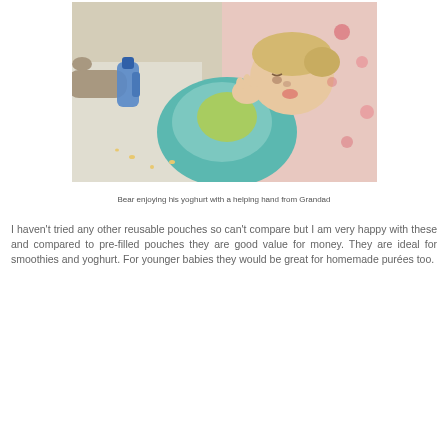[Figure (photo): A baby wearing a teal/green outfit lying on a patterned cushion or bouncy chair, being fed yoghurt from a blue squeeze pouch by an adult hand (Grandad's hand visible on left).]
Bear enjoying his yoghurt with a helping hand from Grandad
I haven't tried any other reusable pouches so can't compare but I am very happy with these and compared to pre-filled pouches they are good value for money. They are ideal for smoothies and yoghurt. For younger babies they would be great for homemade purées too.